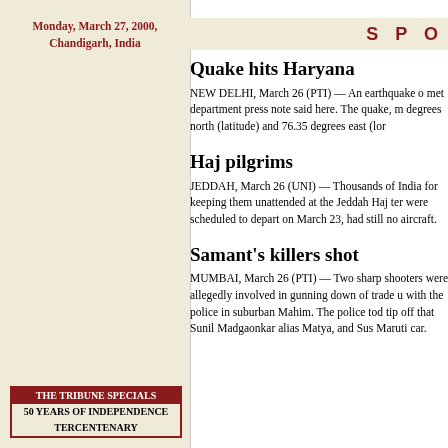Monday, March 27, 2000, Chandigarh, India
SPO
Quake hits Haryana
NEW DELHI, March 26 (PTI) — An earthquake o... met department press note said here. The quake, m... degrees north (latitude) and 76.35 degrees east (lor...
Haj pilgrims
JEDDAH, March 26 (UNI) — Thousands of India... for keeping them unattended at the Jeddah Haj ter... were scheduled to depart on March 23, had still no... aircraft.
Samant's killers shot
MUMBAI, March 26 (PTI) — Two sharp shooters... were allegedly involved in gunning down of trade u... with the police in suburban Mahim. The police tod... tip off that Sunil Madgaonkar alias Matya, and Sus... Maruti car.
| THE TRIBUNE SPECIALS |
| 50 YEARS OF INDEPENDENCE |
| TERCENTENARY |